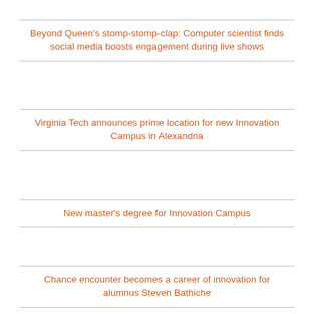Beyond Queen's stomp-stomp-clap: Computer scientist finds social media boosts engagement during live shows
Virginia Tech announces prime location for new Innovation Campus in Alexandria
New master's degree for Innovation Campus
Chance encounter becomes a career of innovation for alumnus Steven Bathiche